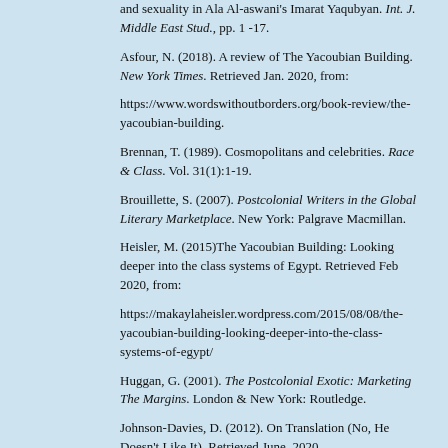and sexuality in Ala Al-aswani's Imarat Yaqubyan. Int. J. Middle East Stud., pp. 1 -17.
Asfour, N. (2018). A review of The Yacoubian Building. New York Times. Retrieved Jan. 2020, from:
https://www.wordswithoutborders.org/book-review/the-yacoubian-building.
Brennan, T. (1989). Cosmopolitans and celebrities. Race & Class. Vol. 31(1):1-19.
Brouillette, S. (2007). Postcolonial Writers in the Global Literary Marketplace. New York: Palgrave Macmillan.
Heisler, M. (2015)The Yacoubian Building: Looking deeper into the class systems of Egypt. Retrieved Feb 2020, from:
https://makaylaheisler.wordpress.com/2015/08/08/the-yacoubian-building-looking-deeper-into-the-class-systems-of-egypt/
Huggan, G. (2001). The Postcolonial Exotic: Marketing The Margins. London & New York: Routledge.
Johnson-Davies, D. (2012). On Translation (No, He Doesn't Like It). Retrieved June, 2020, from:https://arablit.org/2011/05/31/denys-johnson-davies-on-translation-no-he-doesnt-like-it/
Jones, J. (2012). A review of The Yacoubian Building. Not Even Past. Retrieved Jan. 2020, from:https://notevenpast.org/yacoubian-building-2006/.
Mendes, A. (2016). "The Marketing of Postcolonial Literature" in: Kai Merten Lucia& Krämer (orgs.), Postcolonial Studies Meets Media Studies: A Critical